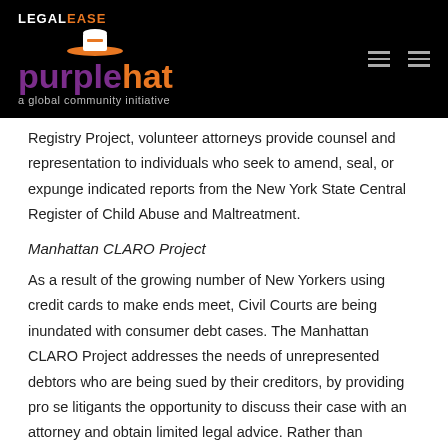LEGALEASE purplehat a global community initiative
Registry Project, volunteer attorneys provide counsel and representation to individuals who seek to amend, seal, or expunge indicated reports from the New York State Central Register of Child Abuse and Maltreatment.
Manhattan CLARO Project
As a result of the growing number of New Yorkers using credit cards to make ends meet, Civil Courts are being inundated with consumer debt cases. The Manhattan CLARO Project addresses the needs of unrepresented debtors who are being sued by their creditors, by providing pro se litigants the opportunity to discuss their case with an attorney and obtain limited legal advice. Rather than representing individuals in court, the CLARO volunteer attorneys meet these individuals at the New York County Civil Court's evening clinics and